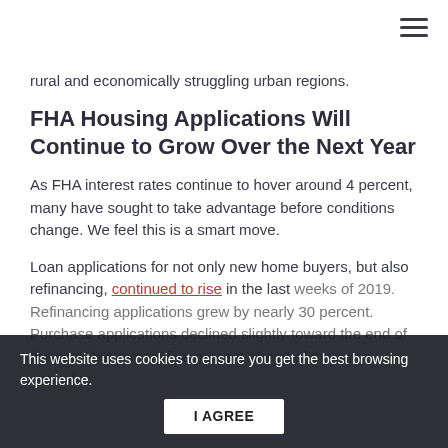rural and economically struggling urban regions.
FHA Housing Applications Will Continue to Grow Over the Next Year
As FHA interest rates continue to hover around 4 percent, many have sought to take advantage before conditions change. We feel this is a smart move.
Loan applications for not only new home buyers, but also refinancing, continued to rise in the last weeks of 2019. Refinancing applications grew by nearly 30 percent. Purchase applications declined slightly toward the end of the year, but remain five percent ahead of the same annual...
This website uses cookies to ensure you get the best browsing experience.